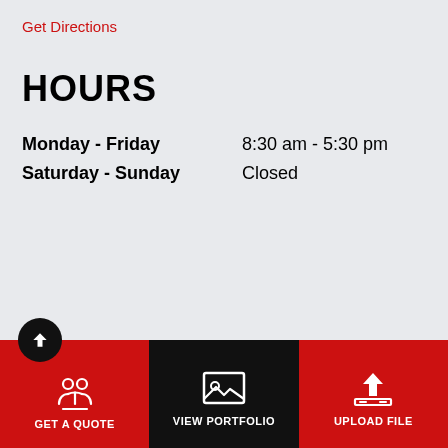Get Directions
HOURS
| Day | Hours |
| --- | --- |
| Monday - Friday | 8:30 am - 5:30 pm |
| Saturday - Sunday | Closed |
GET A QUOTE | VIEW PORTFOLIO | UPLOAD FILE